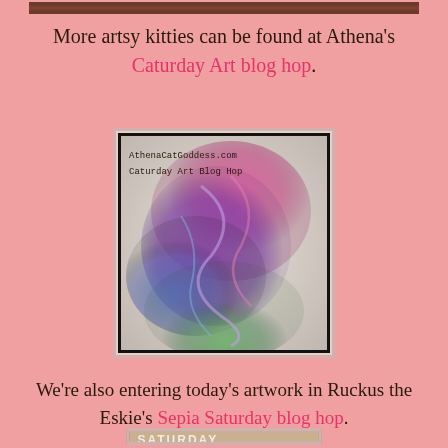[Figure (photo): Top dark brown/chocolate banner image strip at the top of the page]
More artsy kitties can be found at Athena's Caturday Art blog hop.
[Figure (illustration): Caturday Art Blog Hop badge from AthenaCatGoddess.com showing a colorful swirling cat illustration with pink, purple, blue and green colors, with text overlay reading AthenaCatGoddess.com and Caturday Art Blog Hop]
We're also entering today's artwork in Ruckus the Eskie's Sepia Saturday blog hop.
[Figure (photo): Sepia Saturday blog hop badge showing the word SATURDAY in large white letters at the top, with E and R letters below, and a sepia-toned photo of a dog face in the background]